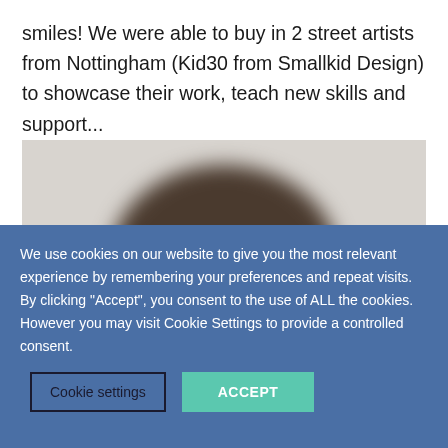smiles! We were able to buy in 2 street artists from Nottingham (Kid30 from Smallkid Design) to showcase their work, teach new skills and support...
[Figure (photo): Blurred photo showing the back of a person's head with dark hair against a light wall background]
We use cookies on our website to give you the most relevant experience by remembering your preferences and repeat visits. By clicking "Accept", you consent to the use of ALL the cookies. However you may visit Cookie Settings to provide a controlled consent.